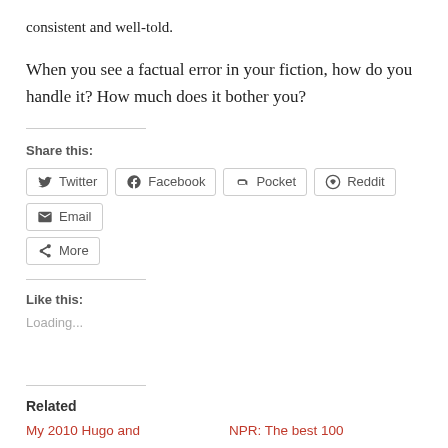consistent and well-told.
When you see a factual error in your fiction, how do you handle it? How much does it bother you?
Share this:
Twitter | Facebook | Pocket | Reddit | Email | More
Like this:
Loading...
Related
My 2010 Hugo and
NPR: The best 100